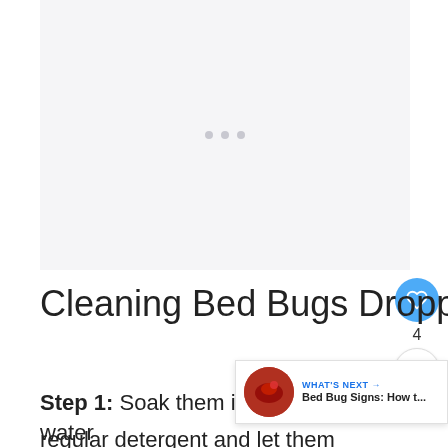[Figure (other): Ad placeholder with three grey dots on a light grey background]
Cleaning Bed Bugs Droppings on Mattresses
Step 1: Soak them in cold water regular detergent and let them sit for
[Figure (other): WHAT'S NEXT → Bed Bug Signs: How t... thumbnail overlay with circular image of bed bug]